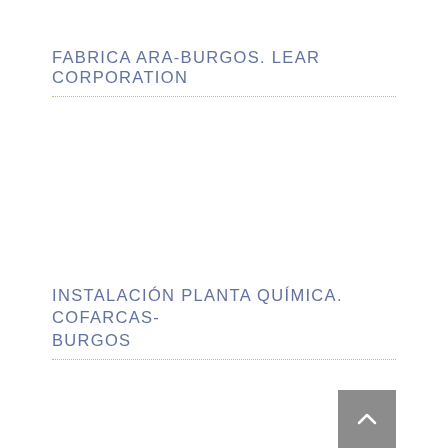FABRICA ARA-BURGOS. LEAR CORPORATION
INSTALACIÓN PLANTA QUÍMICA. COFARCAS-BURGOS